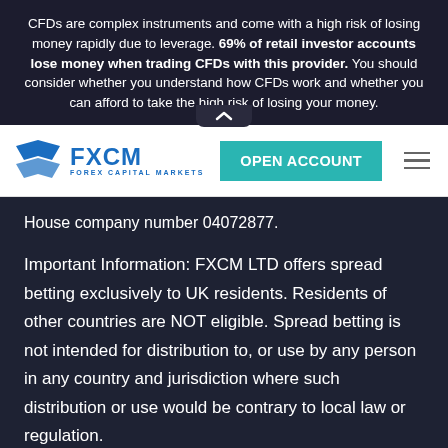CFDs are complex instruments and come with a high risk of losing money rapidly due to leverage. 69% of retail investor accounts lose money when trading CFDs with this provider. You should consider whether you understand how CFDs work and whether you can afford to take the high risk of losing your money.
[Figure (logo): FXCM Forex Capital Markets logo with teal OPEN ACCOUNT button and hamburger menu]
House company number 04072877.
Important Information: FXCM LTD offers spread betting exclusively to UK residents. Residents of other countries are NOT eligible. Spread betting is not intended for distribution to, or use by any person in any country and jurisdiction where such distribution or use would be contrary to local law or regulation.